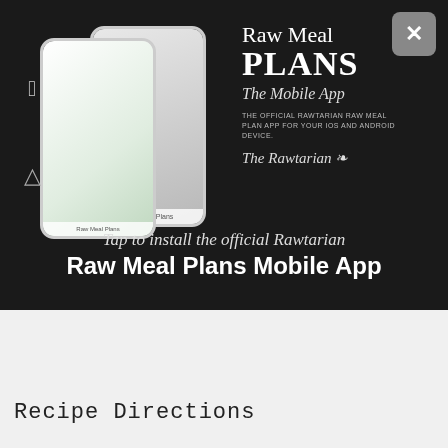[Figure (screenshot): Dark banner advertisement for Raw Meal Plans mobile app, showing phone mockups on left and app title/branding on right with Apple and Android logos]
Tap to install the official Rawtarian Raw Meal Plans Mobile App
1 cup unsweetened dried coconut
3 tablespoons lemon juice
1 tablespoon agave nectar or maple syrup
USE METRIC   12 SERVINGS
Recipe Directions